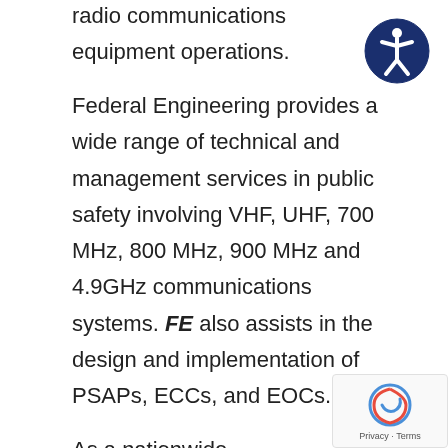radio communications equipment operations.
Federal Engineering provides a wide range of technical and management services in public safety involving VHF, UHF, 700 MHz, 800 MHz, 900 MHz and 4.9GHz communications systems. FE also assists in the design and implementation of PSAPs, ECCs, and EOCs.
As a nationwide communications systems planning and design firm, Federal Engineering develops voice, data, and video networks for a wide range of end users, including organizations in the aerospace, energy, finance, education, publishing, and computer services fields. In